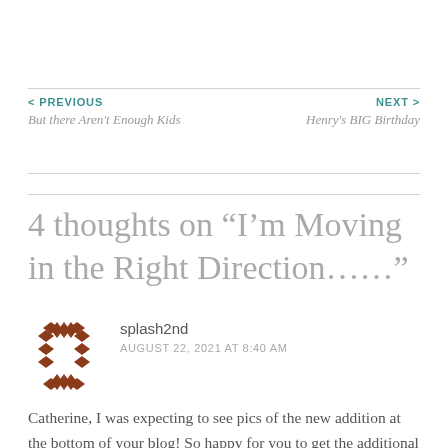< PREVIOUS
But there Aren't Enough Kids
NEXT >
Henry's BIG Birthday
4 thoughts on “I’m Moving in the Right Direction……”
[Figure (logo): Decorative diamond pattern avatar icon in dark red/brown color]
splash2nd
AUGUST 22, 2021 AT 8:40 AM
Catherine, I was expecting to see pics of the new addition at the bottom of your blog! So happy for you to get the additional space you’ve needed for so long